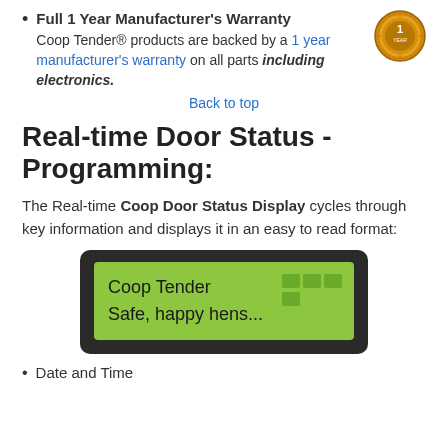Full 1 Year Manufacturer's Warranty
Coop Tender® products are backed by a 1 year manufacturer's warranty on all parts including electronics.
Back to top
Real-time Door Status - Programming:
The Real-time Coop Door Status Display cycles through key information and displays it in an easy to read format:
[Figure (photo): LCD display showing green screen with text: 'Coop Tender' on first line and 'Safe, happy hens...' on second line, surrounded by a dark rounded frame]
Date and Time